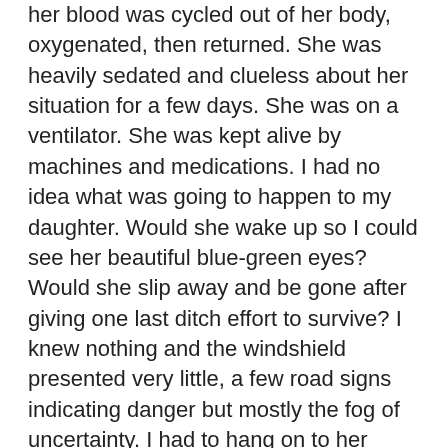her blood was cycled out of her body, oxygenated, then returned. She was heavily sedated and clueless about her situation for a few days. She was on a ventilator. She was kept alive by machines and medications. I had no idea what was going to happen to my daughter. Would she wake up so I could see her beautiful blue-green eyes? Would she slip away and be gone after giving one last ditch effort to survive? I knew nothing and the windshield presented very little, a few road signs indicating danger but mostly the fog of uncertainty. I had to hang on to her being OK. Each day I saw her alive. That was also part of the view out my windshield. A daughter who was still breathing, it was through a machine, but she was still breathing. I had moments where I broke down in tears. It was just too much to hold. I had to release the fear and sadness. Mostly I tried to keep my view on reality, not